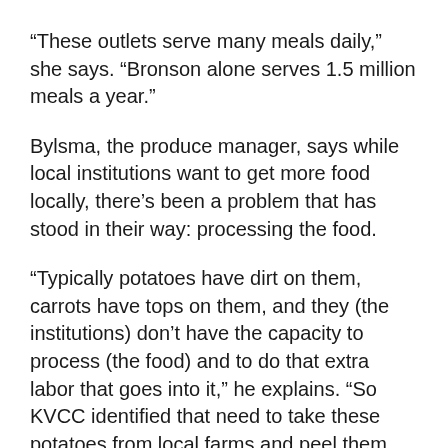“These outlets serve many meals daily,” she says. “Bronson alone serves 1.5 million meals a year.”
Bylsma, the produce manager, says while local institutions want to get more food locally, there’s been a problem that has stood in their way: processing the food.
“Typically potatoes have dirt on them, carrots have tops on them, and they (the institutions) don’t have the capacity to process (the food) and to do that extra labor that goes into it,” he explains. “So KVCC identified that need to take these potatoes from local farms and peel them, cube them, so they go to food processing in a format that the institutions are used to.”
Once the coalition partners work out the kinks of this institutional business model, they plan to